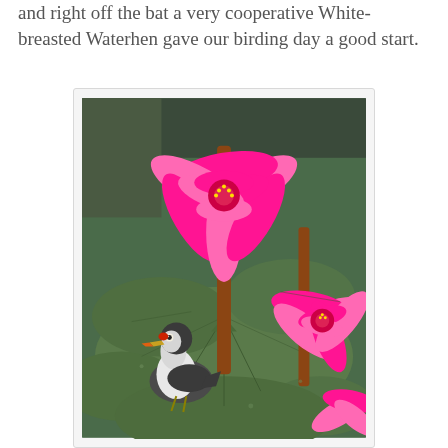and right off the bat a very cooperative White-breasted Waterhen gave our birding day a good start.
[Figure (photo): A White-breasted Waterhen bird standing among large green lily pads on water, surrounded by vibrant pink water lily flowers with red centers and reddish-brown stems. The bird has a dark grey back, white breast, and an orange-tipped yellow beak with a red facial shield.]